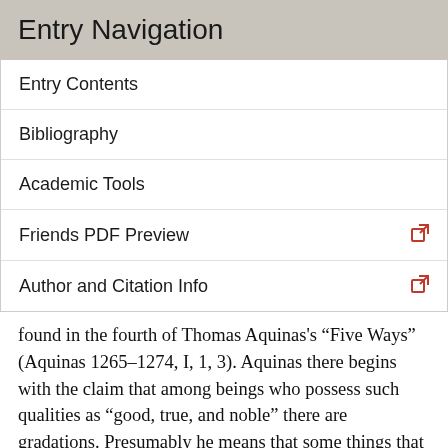Entry Navigation
Entry Contents
Bibliography
Academic Tools
Friends PDF Preview
Author and Citation Info
found in the fourth of Thomas Aquinas's “Five Ways” (Aquinas 1265–1274, I, 1, 3). Aquinas there begins with the claim that among beings who possess such qualities as “good, true, and noble” there are gradations. Presumably he means that some things that are good are better than other good things; perhaps some noble people are nobler than others who are noble. In effect Aquinas is claiming that when we “grade” things in this way we are, at least implicitly, comparing them to some absolute standard. Aquinas believes this standard cannot be merely “ideal” or “hypothetical,” and thus this gradation is only possible